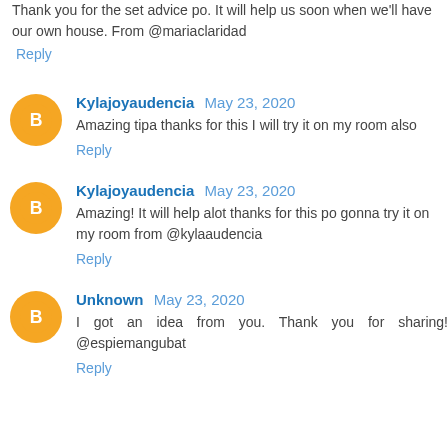Thank you for the set advice po. It will help us soon when we'll have our own house. From @mariaclaridad
Reply
Kylajoyaudencia May 23, 2020
Amazing tipa thanks for this I will try it on my room also
Reply
Kylajoyaudencia May 23, 2020
Amazing! It will help alot thanks for this po gonna try it on my room from @kylaaudencia
Reply
Unknown May 23, 2020
I got an idea from you. Thank you for sharing! @espiemangubat
Reply